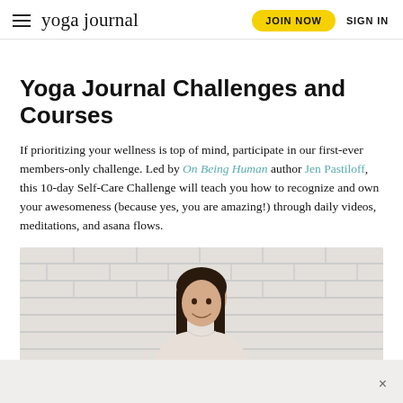yoga journal | JOIN NOW | SIGN IN
Yoga Journal Challenges and Courses
If prioritizing your wellness is top of mind, participate in our first-ever members-only challenge. Led by On Being Human author Jen Pastiloff, this 10-day Self-Care Challenge will teach you how to recognize and own your awesomeness (because yes, you are amazing!) through daily videos, meditations, and asana flows.
[Figure (photo): Woman with long dark hair smiling, standing in front of a white brick wall, wearing a light-colored top. Partial promotional photo for Yoga Journal challenge content.]